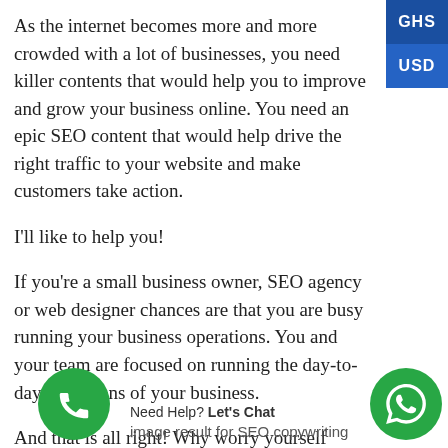[Figure (infographic): GHS and USD currency selector buttons in blue on the top right corner]
As the internet becomes more and more crowded with a lot of businesses, you need killer contents that would help you to improve and grow your business online. You need an epic SEO content that would help drive the right traffic to your website and make customers take action.
I'll like to help you!
If you're a small business owner, SEO agency or web designer chances are that you are busy running your business operations. You and your team are focused on running the day-to-day operations of your business.
And that is all right! Why worry yourself researching, analyzing creating, editing and writing contents for your busir---
image result for SEO copywriting
Need Help? Let's Chat